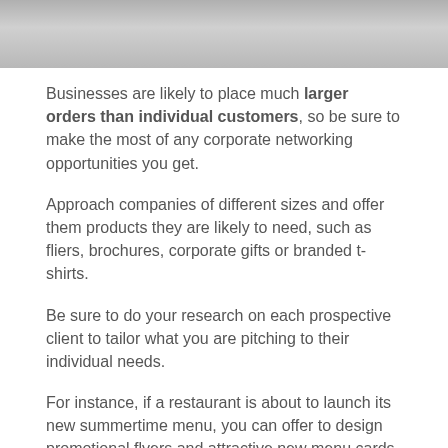[Figure (photo): Grayscale photo showing what appears to be pencils or pens on a surface]
Businesses are likely to place much larger orders than individual customers, so be sure to make the most of any corporate networking opportunities you get.
Approach companies of different sizes and offer them products they are likely to need, such as fliers, brochures, corporate gifts or branded t-shirts.
Be sure to do your research on each prospective client to tailor what you are pitching to their individual needs.
For instance, if a restaurant is about to launch its new summertime menu, you can offer to design promotional flyers and attractive new menu cards.
Like you, your corporate clients are also looking to win over their customers by offering unique services. One way for you to help your clients make an impact while also